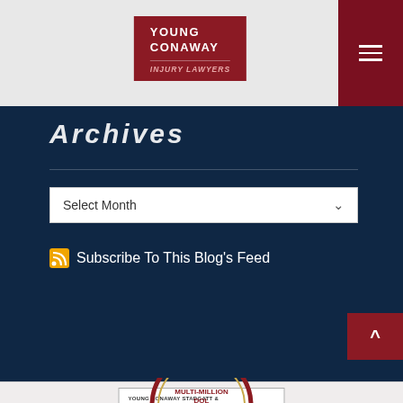YOUNG CONAWAY INJURY LAWYERS
Archives
Select Month
Subscribe To This Blog's Feed
[Figure (logo): Young Conaway Stargatt & Taylor, LLP - Top Listed In Best Lawyers - The World's Premier Guide badge]
[Figure (illustration): Multi-Million Dollar Advocates Forum medallion, partially visible at bottom of page]